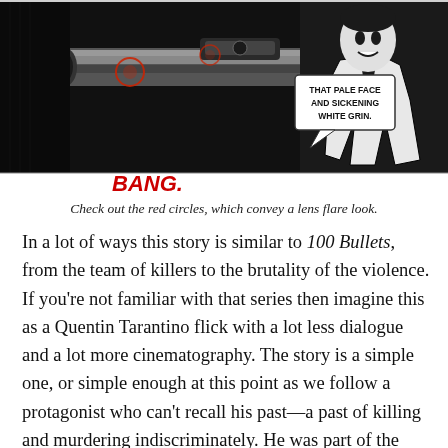[Figure (illustration): Black and white comic book panel showing a person aiming a large gun/cannon barrel toward the viewer, with a speech bubble reading 'THAT PALE FACE AND SICKENING WHITE GRIN.' and a red 'BANG.' label at the bottom left. Red circles suggest lens flare.]
Check out the red circles, which convey a lens flare look.
In a lot of ways this story is similar to 100 Bullets, from the team of killers to the brutality of the violence. If you're not familiar with that series then imagine this as a Quentin Tarantino flick with a lot less dialogue and a lot more cinematography. The story is a simple one, or simple enough at this point as we follow a protagonist who can't recall his past—a past of killing and murdering indiscriminately. He was part of the White Suits, who are shown to not be on any one side; in fact one of them murders innocent folks for no reason at all beyond his